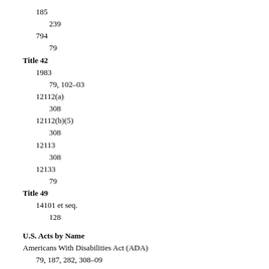185
239
794
79
Title 42
1983
79, 102–03
12112(a)
308
12112(b)(5)
308
12113
308
12133
79
Title 49
14101 et seq.
128
U.S. Acts by Name
Americans With Disabilities Act (ADA)
79, 187, 282, 308–09
Civil Rights Act (of 1871)
79
Fair Labor Standards Act
85
Federal Arbitration Act (FAA)
239–41